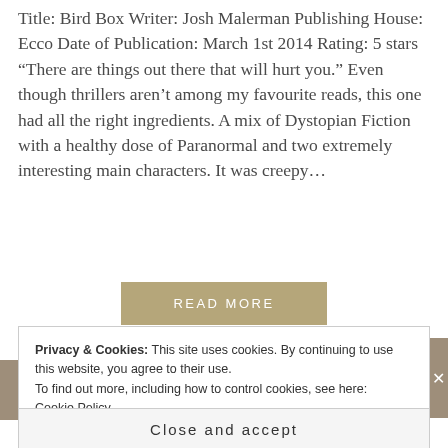Title: Bird Box Writer: Josh Malerman Publishing House: Ecco Date of Publication: March 1st 2014 Rating: 5 stars “There are things out there that will hurt you.” Even though thrillers aren’t among my favourite reads, this one had all the right ingredients. A mix of Dystopian Fiction with a healthy dose of Paranormal and two extremely interesting main characters. It was creepy...
READ MORE
Privacy & Cookies: This site uses cookies. By continuing to use this website, you agree to their use.
To find out more, including how to control cookies, see here: Cookie Policy
Close and accept